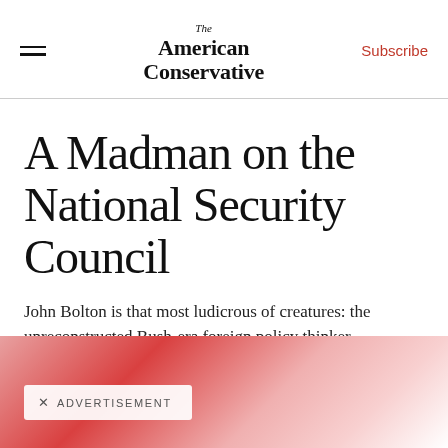The American Conservative | Subscribe
A Madman on the National Security Council
John Bolton is that most ludicrous of creatures: the unreconstructed Bush-era foreign policy thinker.
[Figure (photo): Partially visible photo with red/pink tones, cropped at bottom of page. An advertisement badge overlay reads '× ADVERTISEMENT'.]